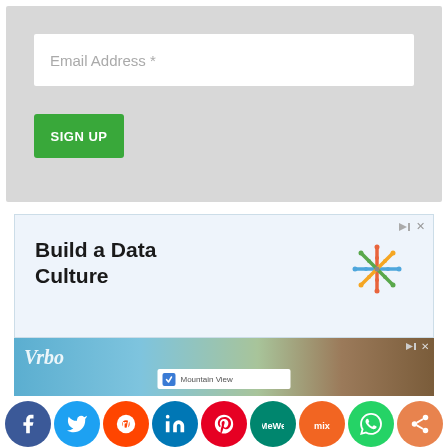Email Address *
SIGN UP
[Figure (screenshot): Tableau advertisement with text 'Build a Data Culture' and Tableau logo on light blue background]
[Figure (screenshot): Vrbo vacation rental advertisement showing a log cabin with Mountain View search bar]
[Figure (infographic): Social sharing bar with icons for Facebook, Twitter, Reddit, LinkedIn, Pinterest, MeWe, Mix, WhatsApp, and Share]